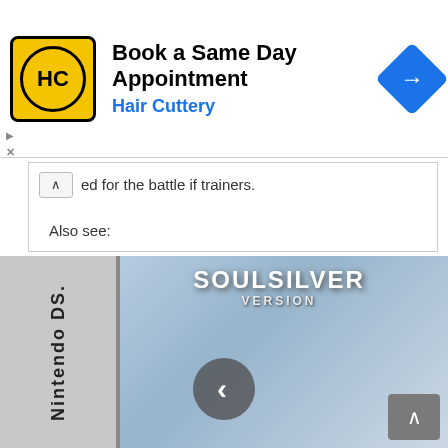[Figure (screenshot): Hair Cuttery advertisement banner with yellow HC logo, text 'Book a Same Day Appointment' and 'Hair Cuttery', with blue navigation arrow icon on the right.]
ed for the battle if trainers.
Also see:
Pokemon Fire Red ROM
Pokemon Platinum ROM
Pokemon Emerald ROM
[Figure (photo): Nintendo DS game box for Pokemon SoulSilver Version, showing the game spine with 'Nintendo DS' text and game artwork with SoulSilver Version title. A carousel previous button (chevron left) is overlaid in the center.]